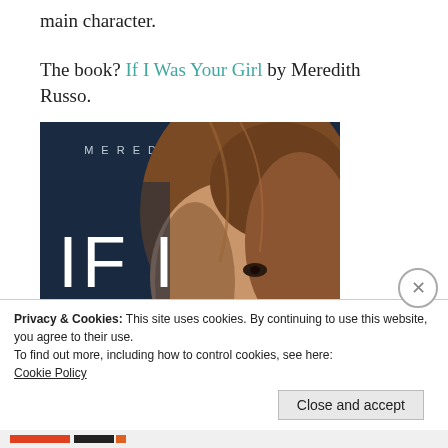main character.
The book? If I Was Your Girl by Meredith Russo.
[Figure (photo): Book cover of 'If I Was Your Girl' by Meredith Russo. Dark navy background with a close-up photo of a young woman's face with brown hair. Large white text reads 'IF I WAS' with 'MEREDITH RUSSO' at the top in spaced letters.]
Privacy & Cookies: This site uses cookies. By continuing to use this website, you agree to their use.
To find out more, including how to control cookies, see here: Cookie Policy
Close and accept